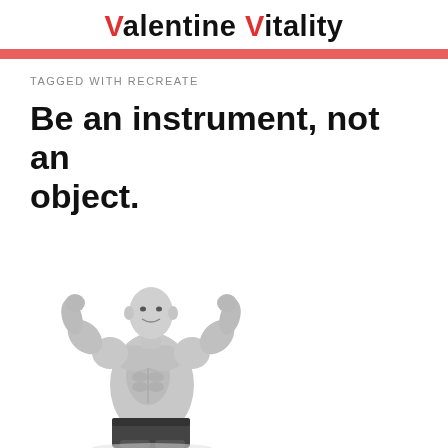Valentine Vitality
TAGGED WITH RECREATE
Be an instrument, not an object.
[Figure (photo): Black and white photo of a muscular male bodybuilder flexing both arms in a double bicep pose, shirtless, wearing black shorts, smiling.]